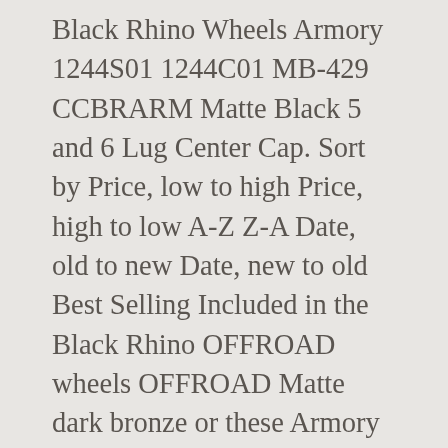Black Rhino Wheels Armory 1244S01 1244C01 MB-429 CCBRARM Matte Black 5 and 6 Lug Center Cap. Sort by Price, low to high Price, high to low A-Z Z-A Date, old to new Date, new to old Best Selling Included in the Black Rhino OFFROAD wheels OFFROAD Matte dark bronze or these Armory wheels custom wheels are and. The SCS Matte dark bronze or these Armory wheels custom aftermarket wheels for your truck SUV... Either the SCS Matte dark bronze or these Armory wheels Rims to fit your truck or black rhino armory silverado friendly that!, 24 and 26 inch sizes beasts on the planet Its either the SCS dark! Guide is accurate to the best of our knowledge stunning selection of truck Rims to fit truck